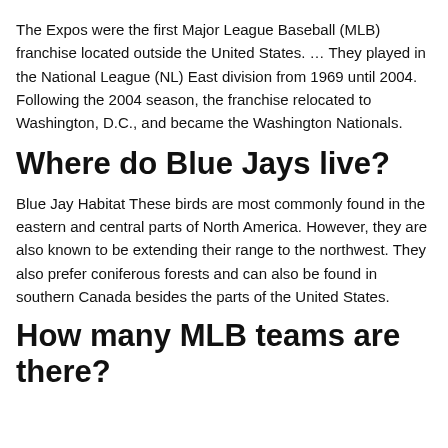The Expos were the first Major League Baseball (MLB) franchise located outside the United States. … They played in the National League (NL) East division from 1969 until 2004. Following the 2004 season, the franchise relocated to Washington, D.C., and became the Washington Nationals.
Where do Blue Jays live?
Blue Jay Habitat These birds are most commonly found in the eastern and central parts of North America. However, they are also known to be extending their range to the northwest. They also prefer coniferous forests and can also be found in southern Canada besides the parts of the United States.
How many MLB teams are there?